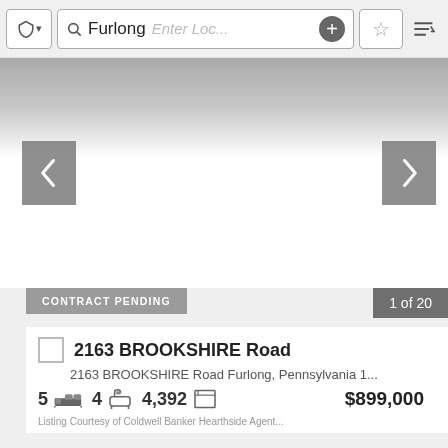Furlong | Enter Loc...
[Figure (screenshot): Real estate listing app screenshot showing a property image carousel with left/right navigation arrows and a blank/gray image area]
CONTRACT PENDING
1 of 20
2163 BROOKSHIRE Road
2163 BROOKSHIRE Road Furlong, Pennsylvania 1...
5 [bed icon] 4 [bath icon] 4,392 [sqft icon] $899,000
Listing Courtesy of Coldwell Banker Hearthside Agent...